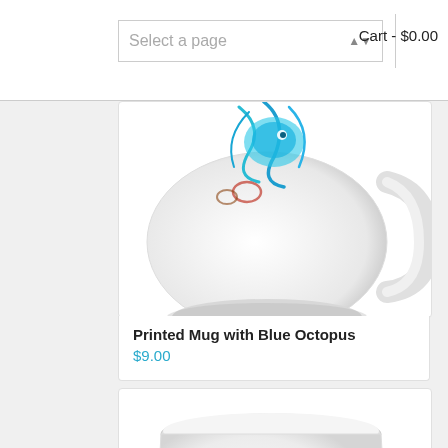Select a page | Cart - $0.00
[Figure (photo): Printed mug with blue octopus watercolor art, partially visible, white ceramic mug]
Printed Mug with Blue Octopus
$9.00
[Figure (photo): White ceramic printed mug with colorful jellyfish watercolor art, showing the mug from front with handle on right]